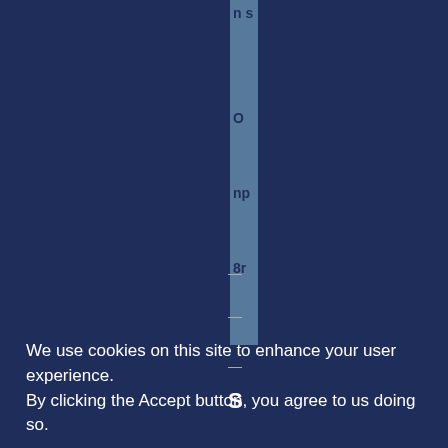[Figure (other): A vertical light-blue semi-transparent bar running from top of page downward, with partial text fragments visible: 'n s', 'O', 'np', '8r']
S
—
—
—
We use cookies on this site to enhance your user experience.
By clicking the Accept button, you agree to us doing so.